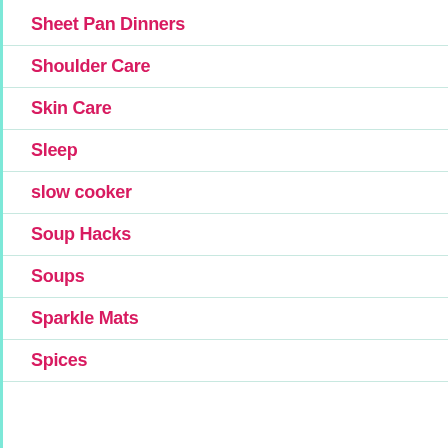Sheet Pan Dinners
Shoulder Care
Skin Care
Sleep
slow cooker
Soup Hacks
Soups
Sparkle Mats
Spices